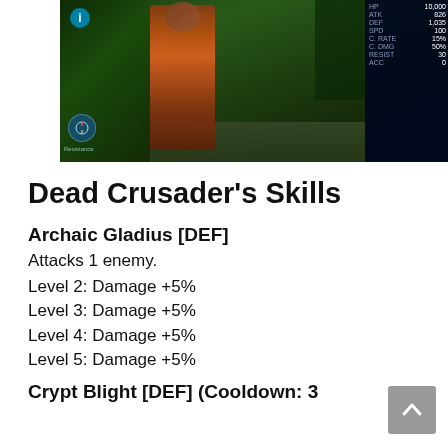[Figure (screenshot): Game screenshot of Dead Crusader character standing in a green forest environment, with a stats panel on the right showing ATK: 826, DEF: 1,035, SPD: 100, C.RATE: 15%, C.DMG: 50%, RESIST: 30, ACC: 0]
Dead Crusader's Skills
Archaic Gladius [DEF]
Attacks 1 enemy.
Level 2: Damage +5%
Level 3: Damage +5%
Level 4: Damage +5%
Level 5: Damage +5%
Crypt Blight [DEF] (Cooldown: 3